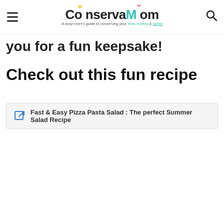ConservaMom — A busy mom's guide to conserving your time, money & sanity
you for a fun keepsake!
Check out this fun recipe
Fast & Easy Pizza Pasta Salad : The perfect Summer Salad Recipe